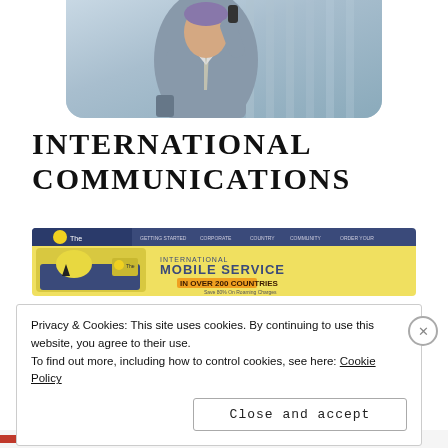[Figure (photo): Person in grey suit holding phone, cropped photo with rounded bottom corners]
INTERNATIONAL COMMUNICATIONS
[Figure (screenshot): Advertisement banner for The SIM Card International Mobile Service in over 200 countries, Save 80% on Roaming Charges]
The international roaming rates from S...
Privacy & Cookies: This site uses cookies. By continuing to use this website, you agree to their use.
To find out more, including how to control cookies, see here: Cookie Policy
Close and accept